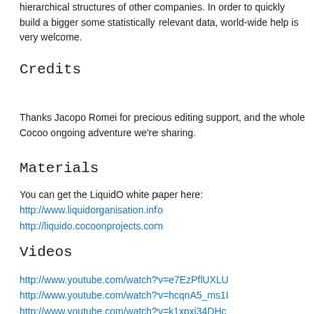hierarchical structures of other companies. In order to quickly build a bigger some statistically relevant data, world-wide help is very welcome.
Credits
Thanks Jacopo Romei for precious editing support, and the whole Cocoo ongoing adventure we're sharing.
Materials
You can get the LiquidO white paper here:
http://www.liquidorganisation.info
http://liquido.cocoonprojects.com
Videos
http://www.youtube.com/watch?v=e7EzPflUXLU
http://www.youtube.com/watch?v=hcqnA5_ms1I
http://www.youtube.com/watch?v=k1xpxi34DHc